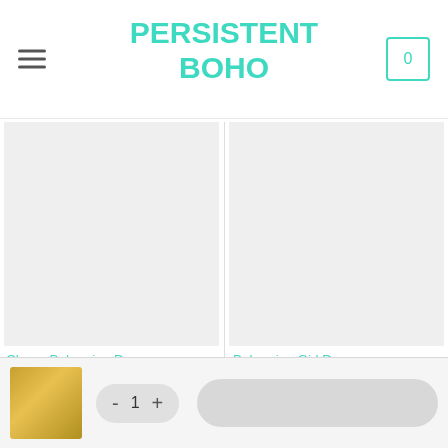PERSISTENT BOHO
[Figure (photo): Product image placeholder for Cheap Bohemian Dress (light grey rectangle)]
[Figure (photo): Product image placeholder for Bohemian Girl Dress (light grey rectangle)]
Cheap Bohemian Dress
55,99€
Bohemian Girl Dress
44,99€
[Figure (photo): Small thumbnail of a yellow/gold boho dress]
- 1 +